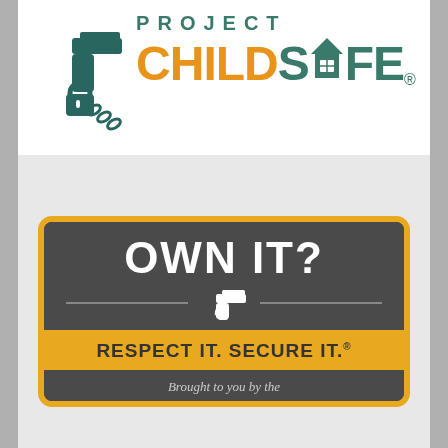[Figure (logo): Project ChildSafe logo: teal gun with padlock icon on left, text 'PROJECT' in teal spaced letters above 'CHILD' in orange and 'SAFE' in teal with house icon replacing the A, registered mark]
[Figure (logo): Badge logo: dark rounded rectangle with gold border, text 'OWN IT?' in white bold, white gun icon with horizontal lines, gold ribbon banner reading 'RESPECT IT. SECURE IT.' with registered mark, dark bottom strip reading 'Brought to you by the']